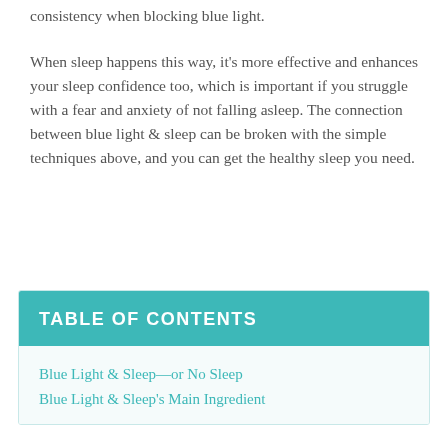consistency when blocking blue light.
When sleep happens this way, it's more effective and enhances your sleep confidence too, which is important if you struggle with a fear and anxiety of not falling asleep. The connection between blue light & sleep can be broken with the simple techniques above, and you can get the healthy sleep you need.
TABLE OF CONTENTS
Blue Light & Sleep—or No Sleep
Blue Light & Sleep's Main Ingredient